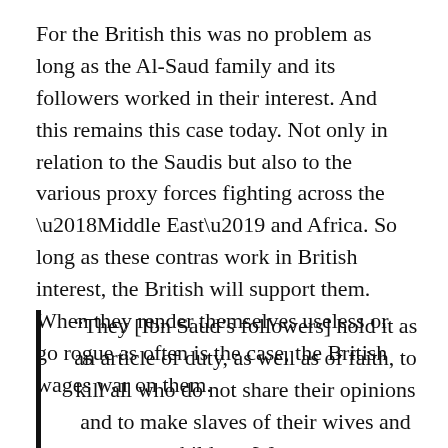For the British this was no problem as long as the Al-Saud family and its followers worked in their interest. And this remains this case today. Not only in relation to the Saudis but also to the various proxy forces fighting across the ‘Middle East’ and Africa. So long as these contras work in British interest, the British will support them. When they render themselves useless or go rogue as often is the case, the British wages war on them.
“They [Ibn Saud’s followers] hold it as an article of duty, as well as of faith, to kill all who do not share their opinions and to make slaves of their wives and children. Women